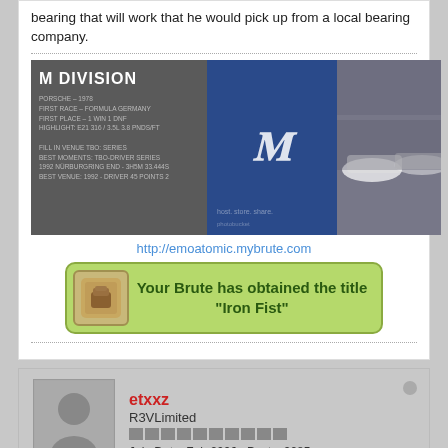bearing that will work that he would pick up from a local bearing company.
[Figure (photo): M Division banner image showing BMW M logo and racing cars]
http://emoatomic.mybrute.com
[Figure (infographic): Your Brute has obtained the title "Iron Fist" badge with fist icon on green background]
etxxz
R3VLimited
Join Date: Feb 2006   Posts: 2085
07-09-2008, 04:56 PM
#9
yeah, figures....good luck. do what i said if you want to save some $$....now lets not take away from the majesty and quality (ex grammar/language) of my writeup and make your own thread!!